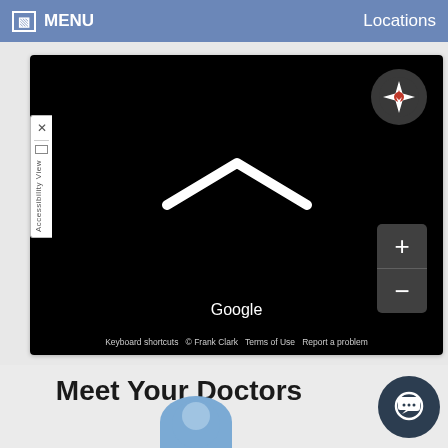MENU   Locations
[Figure (screenshot): Google Maps embedded map showing a black map area with a compass rose button, zoom in/out controls, a chevron/arrow shape in the center, Google logo, and attribution bar reading 'Keyboard shortcuts © Frank Clark Terms of Use Report a problem'. There is also an Accessibility View panel on the left side with an X close button.]
Meet Your Doctors